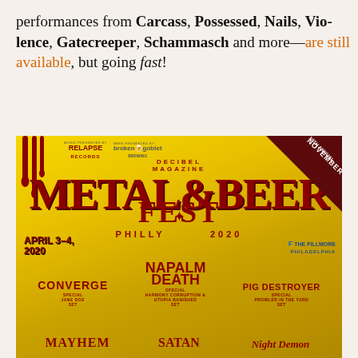performances from Carcass, Possessed, Nails, Vio-lence, Gatecreeper, Schammasch and more—are still available, but going fast!
[Figure (illustration): Decibel Magazine Metal & Beer Fest Philly 2020 event poster. April 3–4, 2020 at The Fillmore Philadelphia. Features band names including Converge (Special Jane Doe Set), Napalm Death (Special Harmony Corruption & Utopia Banished Set), Pig Destroyer (Special Prowler in the Yard Set), Mayhem, Satan, Night Demon. Music presented by Relapse Records, Beer presented by Broken Goblet Brewing. Blood drip graphics top left. November banner top right.]